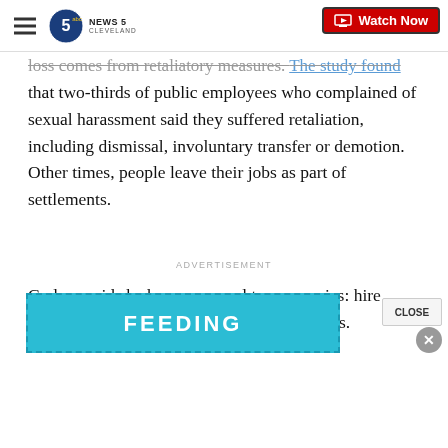NEWS 5 CLEVELAND | Watch Now
loss comes from retaliatory measures. The study found that two-thirds of public employees who complained of sexual harassment said they suffered retaliation, including dismissal, involuntary transfer or demotion. Other times, people leave their jobs as part of settlements.
Carlson said she has a proposal to companies: hire those women back and let go of the predators.
ADVERTISEMENT
[Figure (screenshot): Advertisement banner in teal/blue with partial text visible: FEEDING]